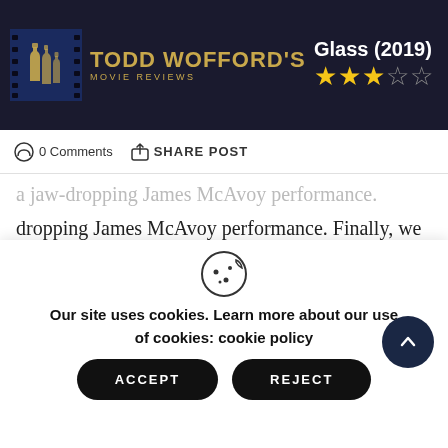Todd Wofford's Movie Reviews
Glass (2019) ★★★☆☆
0 Comments  SHARE POST
dropping James McAvoy performance. Finally, we get Glass, a film built on a phenomenal hook, but with a wholly disappointing execution. It's as if Shyamalan takes the first act to set the most beautiful table of his career, only to use the rest of the movie to swipe the fine china onto the floor.
The story begins where Split left off: Kevin Wendell
Our site uses cookies. Learn more about our use of cookies: cookie policy
ACCEPT  REJECT